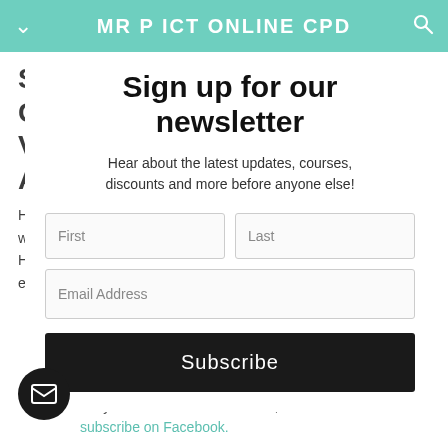MR P ICT ONLINE CPD
Sign up for our newsletter
Hear about the latest updates, courses, discounts and more before anyone else!
SPACE TOPIC LESSON: GEOCENTRIC VS HELIOCENTRIC ANIMATIONS
Here is a lesson on heliocentric animations... In this video learners will create animations demonstrating the Geocentric and Heliocentric theories. These will then be used in a task where an explanation of the theories will be added.
Click the picture to access the lesson. If you have not yet subscribed to Facebook, click here to not need to subscribe on Facebook.